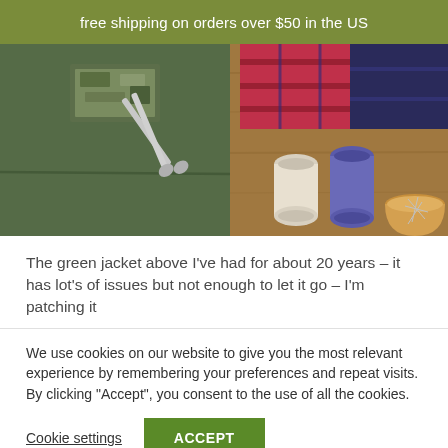free shipping on orders over $50 in the US
[Figure (photo): Overhead flat lay of a green jacket with a fabric patch, scissors, two spools of thread (white and blue/purple), a wooden bowl with pins, and plaid fabric swatches on a wooden surface.]
The green jacket above I've had for about 20 years – it has lot's of issues but not enough to let it go – I'm patching it
We use cookies on our website to give you the most relevant experience by remembering your preferences and repeat visits. By clicking "Accept", you consent to the use of all the cookies.
Cookie settings
ACCEPT